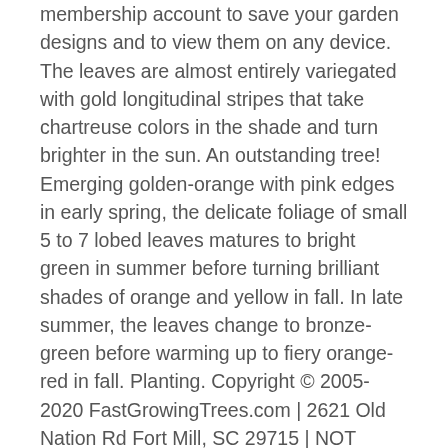membership account to save your garden designs and to view them on any device. The leaves are almost entirely variegated with gold longitudinal stripes that take chartreuse colors in the shade and turn brighter in the sun. An outstanding tree! Emerging golden-orange with pink edges in early spring, the delicate foliage of small 5 to 7 lobed leaves matures to bright green in summer before turning brilliant shades of orange and yellow in fall. In late summer, the leaves change to bronze-green before warming up to fiery orange-red in fall. Planting. Copyright © 2005-2020 FastGrowingTrees.com | 2621 Old Nation Rd Fort Mill, SC 29715 | NOT OPEN TO PUBLIC. In spring, it produces small purple flowers which give way to red fruits. Slowly spreading, this Fern is easy to grow and one of the most rewarding ferns. While every effort has been made to describe these plants accurately, please keep in mind that How to Plant a Bloodgood Japanese Maple. Japanese Maples do not require a lot of fertilizer - in fact, you may not even have to fertilize. Its